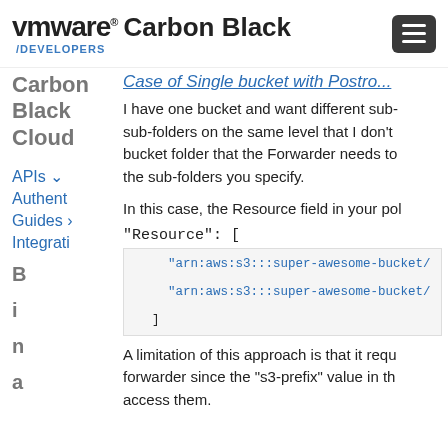vmware Carbon Black /DEVELOPERS
Case of Single Bucket with Postro...
I have one bucket and want different sub-folders on the same level that I don't bucket folder that the Forwarder needs to the sub-folders you specify.
In this case, the Resource field in your pol
"Resource": [
[Figure (screenshot): Code block showing AWS S3 ARN resource entries:
    "arn:aws:s3:::super-awesome-bucket/
    "arn:aws:s3:::super-awesome-bucket/
  ]]
A limitation of this approach is that it requ forwarder since the "s3-prefix" value in th access them.